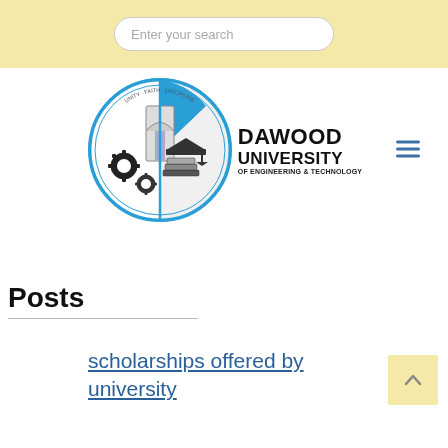Enter your search
[Figure (logo): Dawood University of Engineering & Technology circular logo with gears and graduation cap, beside text 'DAWOOD UNIVERSITY OF ENGINEERING & TECHNOLOGY']
Posts
scholarships offered by university